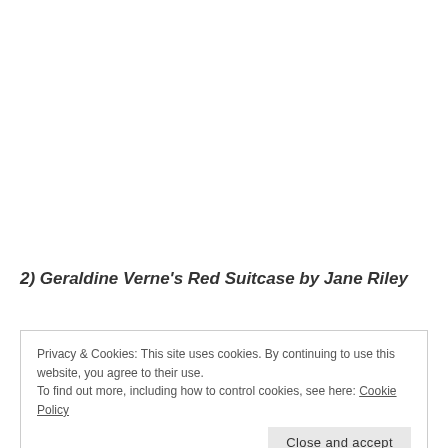2) Geraldine Verne's Red Suitcase by Jane Riley
Privacy & Cookies: This site uses cookies. By continuing to use this website, you agree to their use.
To find out more, including how to control cookies, see here: Cookie Policy
Close and accept